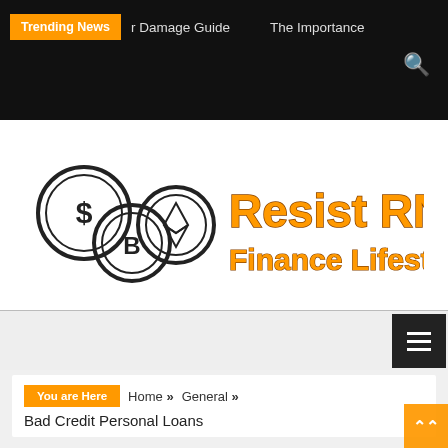Trending News | r Damage Guide | The Importance
[Figure (logo): Resist RNC Finance Lifestyle! logo with coin icons (dollar, bitcoin, ethereum) and bold orange text]
Navigation menu hamburger button
You are Here  Home » General »
Bad Credit Personal Loans
[Figure (photo): Photo of scattered US dollar bills]